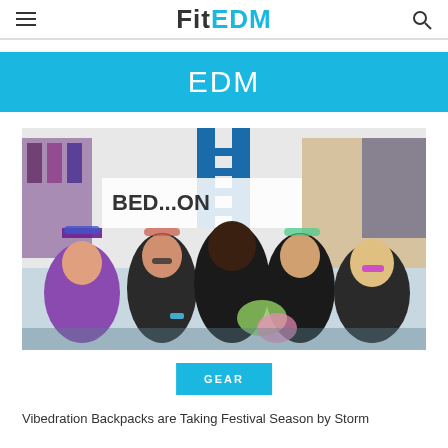FitEDM
EDM
[Figure (photo): Group of six people posing and smiling at a festival vendor booth with colorful apparel displayed in the background. A blue ladder structure and a banner reading 'BED...ON' are visible.]
GEAR
Vibedration Backpacks are Taking Festival Season by Storm